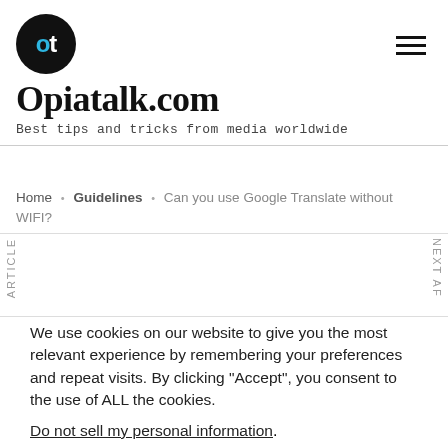[Figure (logo): Opiatalk.com logo: black circle with 'ot' text in blue and white, followed by site name and tagline]
Opiatalk.com
Best tips and tricks from media worldwide
Home · Guidelines · Can you use Google Translate without WIFI?
We use cookies on our website to give you the most relevant experience by remembering your preferences and repeat visits. By clicking "Accept", you consent to the use of ALL the cookies. Do not sell my personal information.